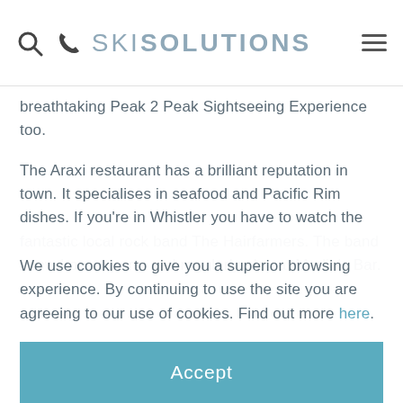SKI SOLUTIONS
breathtaking Peak 2 Peak Sightseeing Experience too.
The Araxi restaurant has a brilliant reputation in town. It specialises in seafood and Pacific Rim dishes. If you're in Whistler you have to watch the fantastic local rock band The Hairfarmers. The band know how to party and regularly play at Merlin's Bar.
We use cookies to give you a superior browsing experience. By continuing to use the site you are agreeing to our use of cookies. Find out more here.
Accept